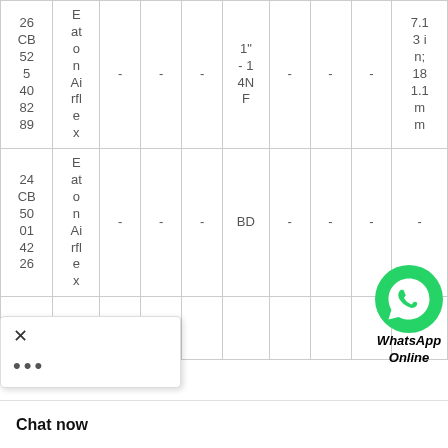|  |  |  |  |  |  |  |  |  |  |
| --- | --- | --- | --- | --- | --- | --- | --- | --- | --- |
| 26 CB 525 40 82 89 | Eaton Airflex | - | - | - | 1" - 14NF | - | - | - | 7.13 in; 181.1 mm |
| 24 CB 500 14 22 6 | Eaton Airflex | - | - | - | BD | - | - | - | - |
[Figure (logo): WhatsApp Online icon — green phone bubble icon with text 'WhatsApp Online' below]
Chat now